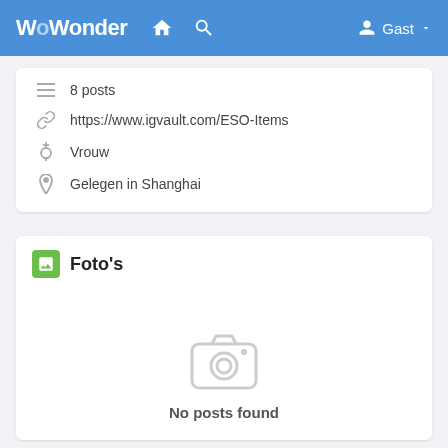WoWonder — Gast
8 posts
https://www.igvault.com/ESO-Items
Vrouw
Gelegen in Shanghai
Foto's
No posts found